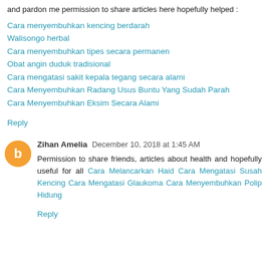and pardon me permission to share articles here hopefully helped :
Cara menyembuhkan kencing berdarah
Walisongo herbal
Cara menyembuhkan tipes secara permanen
Obat angin duduk tradisional
Cara mengatasi sakit kepala tegang secara alami
Cara Menyembuhkan Radang Usus Buntu Yang Sudah Parah
Cara Menyembuhkan Eksim Secara Alami
Reply
Zihan Amelia December 10, 2018 at 1:45 AM
Permission to share friends, articles about health and hopefully useful for all Cara Melancarkan Haid Cara Mengatasi Susah Kencing Cara Mengatasi Glaukoma Cara Menyembuhkan Polip Hidung
Reply